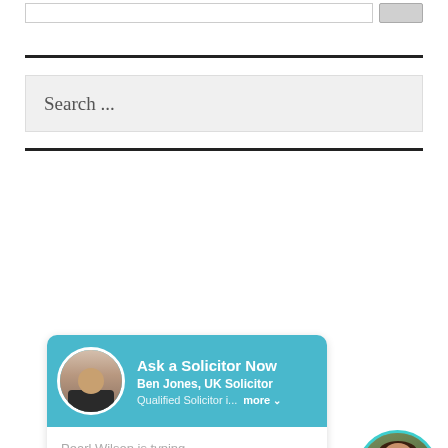[Figure (screenshot): Top navigation bar with a text input field and a button, partially visible at the top of the page]
[Figure (screenshot): Search box with placeholder text 'Search ...' on a light grey background]
[Figure (screenshot): Chat widget for 'Ask a Solicitor Now' featuring Ben Jones UK Solicitor with avatar, and 'Pearl Wilson is typing...' message in chat body. A female avatar with teal border appears to the right.]